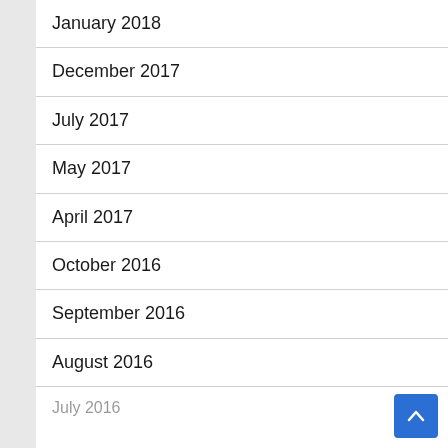January 2018
December 2017
July 2017
May 2017
April 2017
October 2016
September 2016
August 2016
July 2016